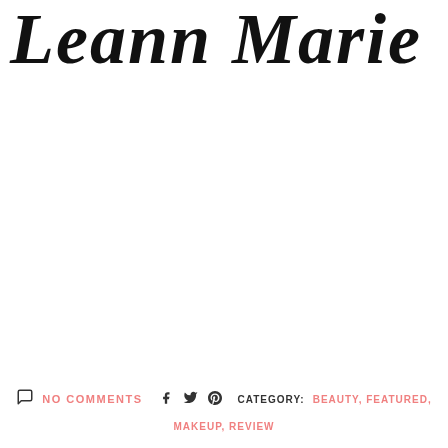Leann Marie
NO COMMENTS  CATEGORY: BEAUTY, FEATURED, MAKEUP, REVIEW